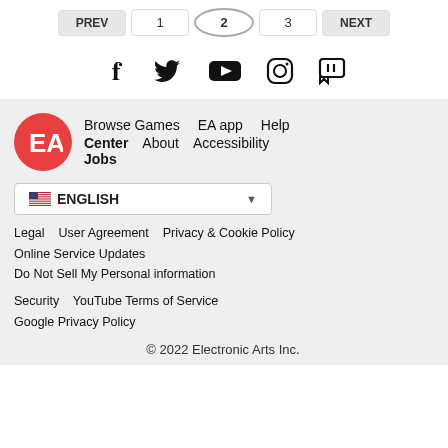PREV  1  2  3  NEXT
[Figure (infographic): Social media icons: Facebook, Twitter, YouTube, Instagram, Twitch]
[Figure (logo): EA (Electronic Arts) red circular logo]
Browse Games   EA app   Help
Center   About   Accessibility   Jobs
🇺🇸 ENGLISH ▼
Legal   User Agreement   Privacy & Cookie Policy
Online Service Updates
Do Not Sell My Personal information
Security   YouTube Terms of Service
Google Privacy Policy
© 2022 Electronic Arts Inc.